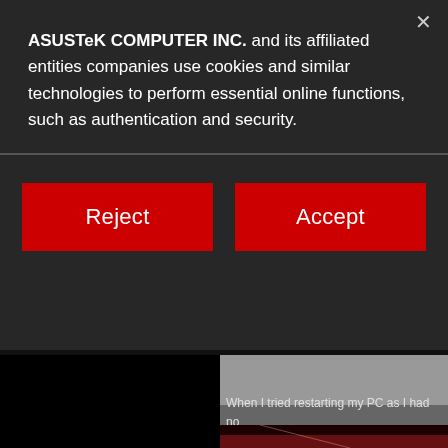[Figure (screenshot): ASUS website background showing a dark page with a BIOS screenshot image (dark with red lighting, showing 'Version 2.17.1246.C') and partial body text: 'When I tried restarting my PC as I had no boot from my SSD. My SSD was recognis appeared in the SATA information seen in' and a second image below.]
ASUSTeK COMPUTER INC. and its affiliated entities companies use cookies and similar technologies to perform essential online functions, such as authentication and security.
Reject
Accept